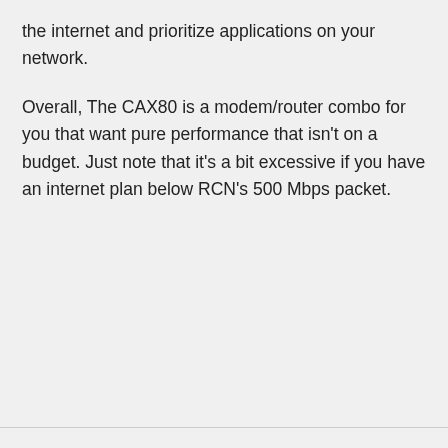the internet and prioritize applications on your network.
Overall, The CAX80 is a modem/router combo for you that want pure performance that isn't on a budget. Just note that it's a bit excessive if you have an internet plan below RCN's 500 Mbps packet.